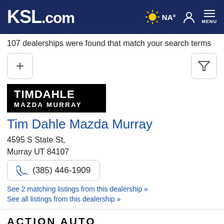KSL.com
107 dealerships were found that match your search terms
[Figure (logo): Tim Dahle Mazda Murray dealership logo — white text on black background]
Tim Dahle Mazda Murray
4595 S State St,
Murray UT 84107
(385) 446-1909
See 2 matching listings from this dealership »
See all listings from this dealership »
[Figure (logo): Action Auto Utah dealership logo — bold black text]
Action Auto Sales and Finance